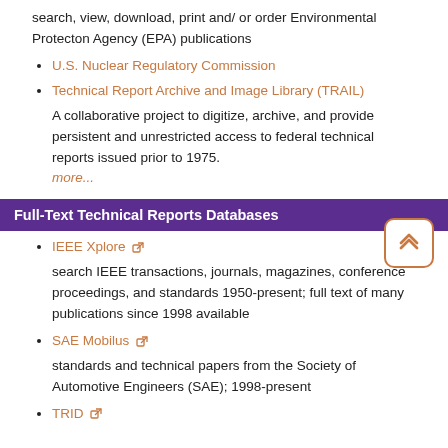search, view, download, print and/ or order Environmental Protecton Agency (EPA) publications
U.S. Nuclear Regulatory Commission
Technical Report Archive and Image Library (TRAIL)
A collaborative project to digitize, archive, and provide persistent and unrestricted access to federal technical reports issued prior to 1975.
more...
Full-Text Technical Reports Databases
IEEE Xplore
search IEEE transactions, journals, magazines, conference proceedings, and standards 1950-present; full text of many publications since 1998 available
SAE Mobilus
standards and technical papers from the Society of Automotive Engineers (SAE); 1998-present
TRID